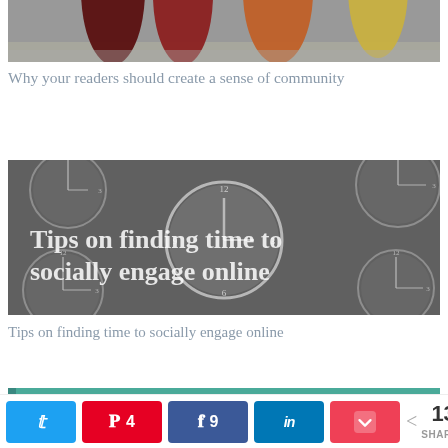[Figure (photo): Partial top of page showing colorful bottles (dark red, red, orange, yellow) on a surface]
Why your readers should create a sense of community
[Figure (photo): Grayscale image of many overlapping clock faces with white bold text overlay reading 'Tips on finding time to socially engage online']
Tips on finding time to socially engage online
[Figure (photo): Teal/green banner image partially visible with white bold text 'Why you need' and an orange square accent, then 'a gravatar']
Twitter share | Pinterest 4 | Facebook 9 | LinkedIn | Pocket | 13 SHARES